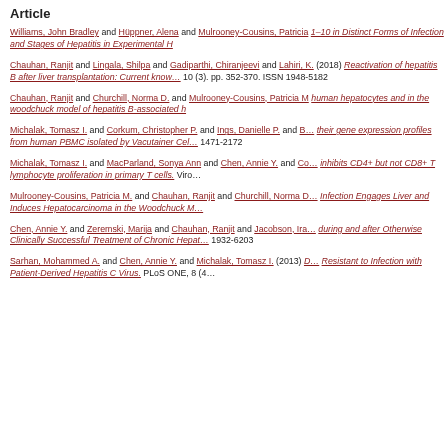Article
Williams, John Bradley and Hüppner, Alena and Mulrooney-Cousins, Patricia 1–10 in Distinct Forms of Infection and Stages of Hepatitis in Experimental H…
Chauhan, Ranjit and Lingala, Shilpa and Gadiparthi, Chiranjeevi and Lahiri, K. (2018) Reactivation of hepatitis B after liver transplantation: Current know… 10 (3). pp. 352-370. ISSN 1948-5182
Chauhan, Ranjit and Churchill, Norma D. and Mulrooney-Cousins, Patricia M. human hepatocytes and in the woodchuck model of hepatitis B-associated h…
Michalak, Tomasz I. and Corkum, Christopher P. and Ings, Danielle P. and B… their gene expression profiles from human PBMC isolated by Vacutainer Cel… 1471-2172
Michalak, Tomasz I. and MacParland, Sonya Ann and Chen, Annie Y. and Co… inhibits CD4+ but not CD8+ T lymphocyte proliferation in primary T cells. Viro…
Mulrooney-Cousins, Patricia M. and Chauhan, Ranjit and Churchill, Norma D… Infection Engages Liver and Induces Hepatocarcinoma in the Woodchuck M…
Chen, Annie Y. and Zeremski, Marija and Chauhan, Ranjit and Jacobson, Ira… during and after Otherwise Clinically Successful Treatment of Chronic Hepat… 1932-6203
Sarhan, Mohammed A. and Chen, Annie Y. and Michalak, Tomasz I. (2013) D… Resistant to Infection with Patient-Derived Hepatitis C Virus. PLoS ONE, 8 (4…